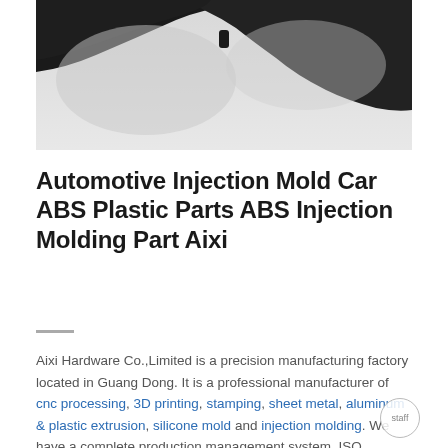[Figure (photo): Close-up photograph of a black automotive plastic part (ABS injection molded eyewear frame or car component) on a light gray background, partially cropped at top.]
Automotive Injection Mold Car ABS Plastic Parts ABS Injection Molding Part Aixi
Aixi Hardware Co.,Limited is a precision manufacturing factory located in Guang Dong. It is a professional manufacturer of cnc processing, 3D printing, stamping, sheet metal, aluminum & plastic extrusion, silicone mold and injection molding. We have a complete production management system, ISO standard, and The internal staff has systematically trained the ISO process, so the